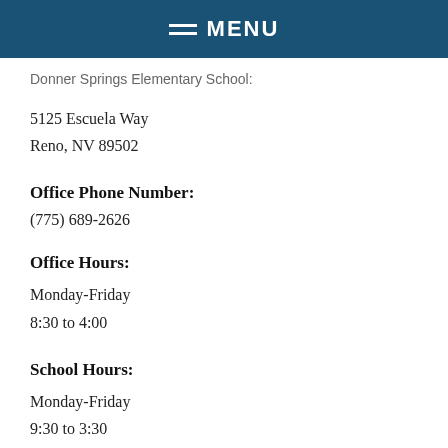MENU
Donner Springs Elementary School:
5125 Escuela Way
Reno, NV 89502
Office Phone Number:
(775) 689-2626
Office Hours:
Monday-Friday
8:30 to 4:00
School Hours:
Monday-Friday
9:30 to 3:30